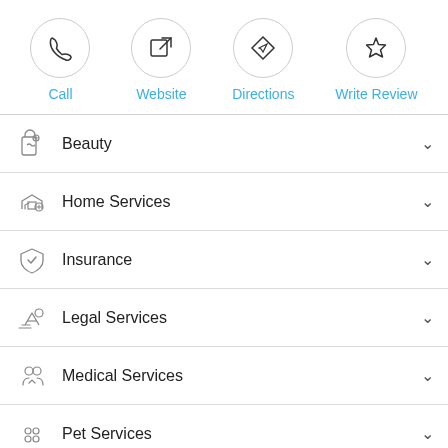[Figure (infographic): Top action bar with four circular icon buttons: Call, Website, Directions, Write Review]
Beauty
Home Services
Insurance
Legal Services
Medical Services
Pet Services
Restaurants